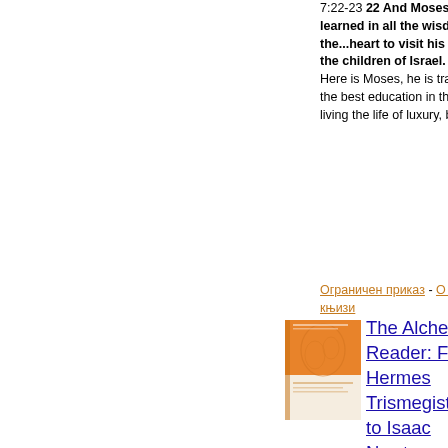7:22-23 22 And Moses was learned in all the wisdom of the...heart to visit his brethren the children of Israel. (KJV) Here is Moses, he is trained in the best education in the world, living the life of luxury, but...
Ограничен приказ - О овој књизи
[Figure (photo): Book cover of The Alchemy Reader: From Hermes Trismegistus to Isaac Newton — orange and white cover with a faint illustration]
The Alchemy Reader: From Hermes Trismegistus to Isaac Newton